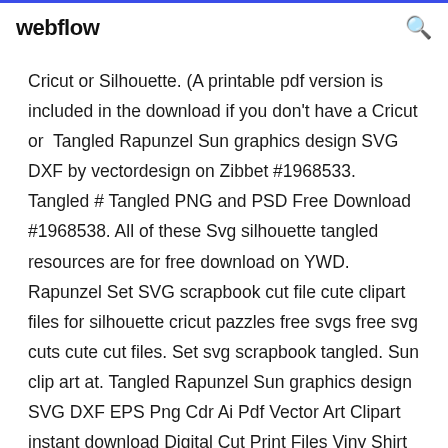webflow
Cricut or Silhouette. (A printable pdf version is included in the download if you don't have a Cricut or  Tangled Rapunzel Sun graphics design SVG DXF by vectordesign on Zibbet #1968533. Tangled # Tangled PNG and PSD Free Download #1968538. All of these Svg silhouette tangled resources are for free download on YWD. Rapunzel Set SVG scrapbook cut file cute clipart files for silhouette cricut pazzles free svgs free svg cuts cute cut files. Set svg scrapbook tangled. Sun clip art at. Tangled Rapunzel Sun graphics design SVG DXF EPS Png Cdr Ai Pdf Vector Art Clipart instant download Digital Cut Print Files Viny Shirt Panel Tangled Rapunzel Sun graphics instant download